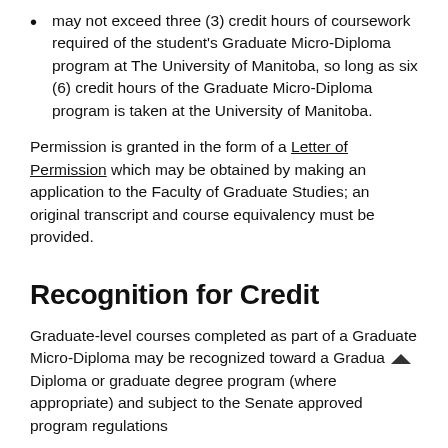may not exceed three (3) credit hours of coursework required of the student's Graduate Micro-Diploma program at The University of Manitoba, so long as six (6) credit hours of the Graduate Micro-Diploma program is taken at the University of Manitoba.
Permission is granted in the form of a Letter of Permission which may be obtained by making an application to the Faculty of Graduate Studies; an original transcript and course equivalency must be provided.
Recognition for Credit
Graduate-level courses completed as part of a Graduate Micro-Diploma may be recognized toward a Graduate Diploma or graduate degree program (where appropriate) and subject to the Senate approved program regulations